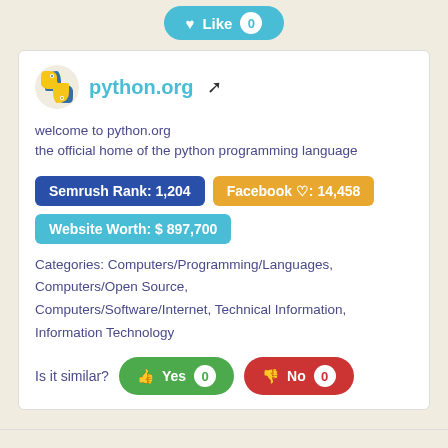[Figure (other): Like button with heart icon and count badge showing 0]
[Figure (logo): Python.org logo with snake icon, site name link, and external link icon]
welcome to python.org
the official home of the python programming language
Semrush Rank: 1,204
Facebook ♡: 14,458
Website Worth: $ 897,700
Categories: Computers/Programming/Languages, Computers/Open Source, Computers/Software/Internet, Technical Information, Information Technology
Is it similar? Yes 0  No 0